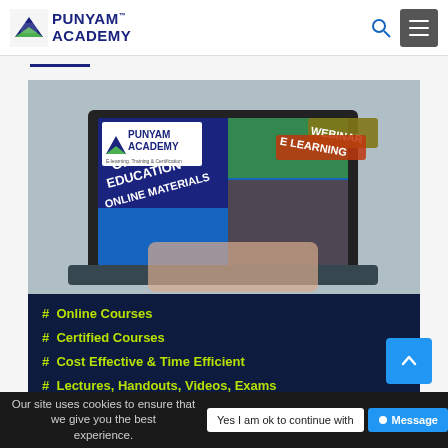PUNYAM™ ACADEMY
[Figure (screenshot): Punyam Academy website screenshot showing a laptop with online education graphic and the text ONLINE EDUCATION, ONLINE MATERIALS, WEBINAR, E LEARNING overlaid. The Punyam Academy logo appears in the top-left of the image.]
#  Online Courses
#  Certified Courses
#  Cost Effective & Time Efficient
#  Lectures, Handouts, Videos, Exams
#  Login & Learn Anytime Anywhere
Our site uses cookies to ensure that we give you the best experience.  Yes I am ok to continue with  • Message